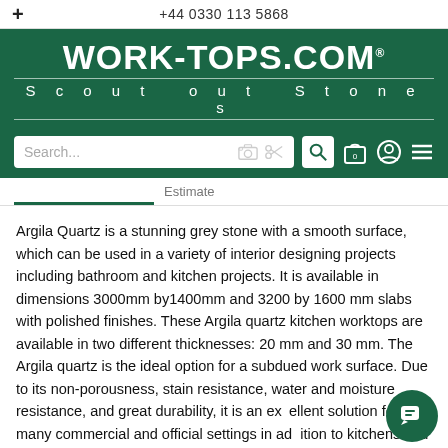+ | +44 0330 113 5868
[Figure (logo): WORK-TOPS.COM logo with tagline 'Scout out Stones' on dark green background, with search bar and navigation icons]
Estimate
Argila Quartz is a stunning grey stone with a smooth surface, which can be used in a variety of interior designing projects including bathroom and kitchen projects. It is available in dimensions 3000mm by1400mm and 3200 by 1600 mm slabs with polished finishes. These Argila quartz kitchen worktops are available in two different thicknesses: 20 mm and 30 mm. The Argila quartz is the ideal option for a subdued work surface. Due to its non-porousness, stain resistance, water and moisture resistance, and great durability, it is an excellent solution for many commercial and official settings in addition to kitchens and bathrooms.